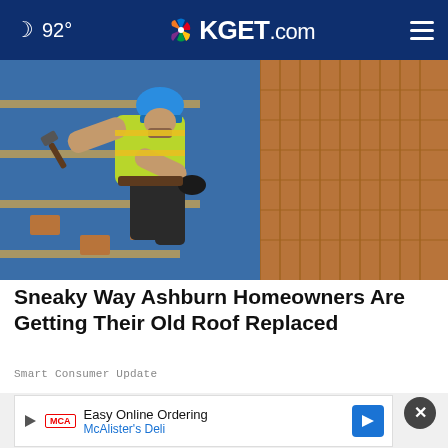🌙 92° | KGET.com
[Figure (photo): Construction worker wearing a blue hard hat and yellow safety vest, laying or repairing roof tiles with a hammer on a pitched roof with blue underlayment and terracotta/clay tiles.]
Sneaky Way Ashburn Homeowners Are Getting Their Old Roof Replaced
Smart Consumer Update
[Figure (screenshot): Bottom ad banner: Easy Online Ordering — McAlister's Deli, with a close (X) button and a blue diamond navigation arrow icon. Partial view of a woman's face in the background.]